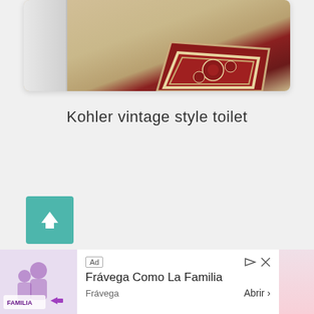[Figure (photo): Partial view of a room showing a white cabinet on the left and a red patterned rug on a tile floor]
Kohler vintage style toilet
[Figure (other): Teal/green square button with a white upward arrow icon]
[Figure (photo): Ceiling photo showing an ornate white plaster medallion with a brass/gold chandelier fixture hanging down]
[Figure (other): Advertisement banner: Frávega Como La Familia - Frávega - Abrir]